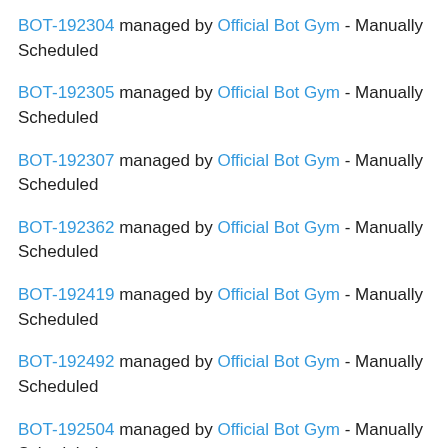BOT-192304 managed by Official Bot Gym - Manually Scheduled
BOT-192305 managed by Official Bot Gym - Manually Scheduled
BOT-192307 managed by Official Bot Gym - Manually Scheduled
BOT-192362 managed by Official Bot Gym - Manually Scheduled
BOT-192419 managed by Official Bot Gym - Manually Scheduled
BOT-192492 managed by Official Bot Gym - Manually Scheduled
BOT-192504 managed by Official Bot Gym - Manually Scheduled